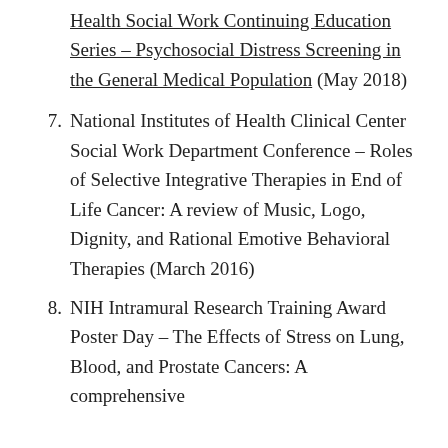Health Social Work Continuing Education Series – Psychosocial Distress Screening in the General Medical Population (May 2018)
7. National Institutes of Health Clinical Center Social Work Department Conference – Roles of Selective Integrative Therapies in End of Life Cancer: A review of Music, Logo, Dignity, and Rational Emotive Behavioral Therapies (March 2016)
8. NIH Intramural Research Training Award Poster Day – The Effects of Stress on Lung, Blood, and Prostate Cancers: A comprehensive